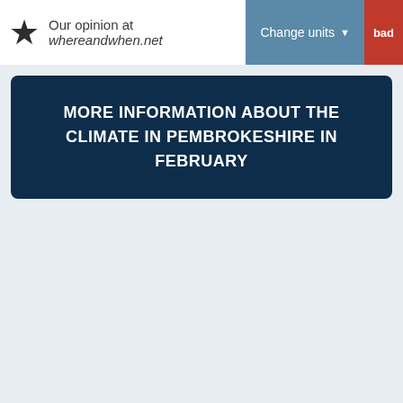Our opinion at whereandwhen.net
Change units
bad
MORE INFORMATION ABOUT THE CLIMATE IN PEMBROKESHIRE IN FEBRUARY